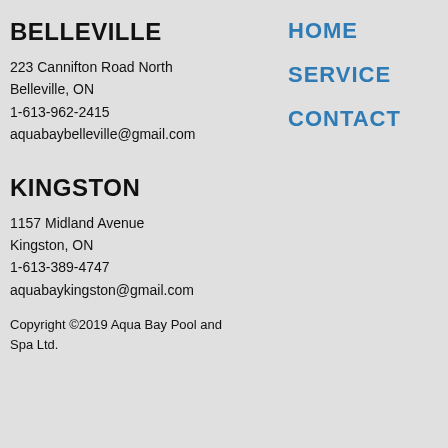BELLEVILLE
223 Cannifton Road North
Belleville, ON
1-613-962-2415
aquabaybelleville@gmail.com
KINGSTON
1157 Midland Avenue
Kingston, ON
1-613-389-4747
aquabaykingston@gmail.com
Copyright ©2019 Aqua Bay Pool and Spa Ltd.
HOME
SERVICE
CONTACT